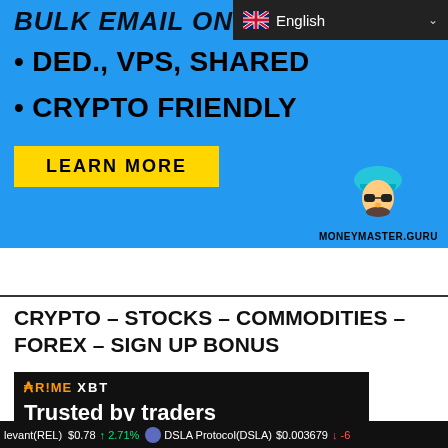[Figure (screenshot): Language selector dropdown showing English with UK flag and chevron on dark background bar]
[Figure (infographic): Blue ad banner for MoneyMaster.Guru advertising bulk email, DED., VPS, SHARED hosting and crypto-friendly services with a Learn More button and a cartoon guru mascot]
• DED., VPS, SHARED
• CRYPTO FRIENDLY
CRYPTO – STOCKS – COMMODITIES – FOREX – SIGN UP BONUS
[Figure (screenshot): PrimeXBT dark banner showing logo and text 'Trusted by traders']
levant(REL) $0.78 ↑ 2.71%   DSLA Protocol(DSLA) $0.003679 ↓ -6